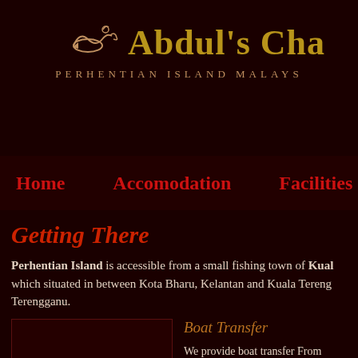Abdul's Cha... Perhentian Island Malays...
Home  Accomodation  Facilities
Getting There
Perhentian Island is accessible from a small fishing town of Kuala... which situated in between Kota Bharu, Kelantan and Kuala Tereng... Terengganu.
[Figure (photo): Image placeholder box]
Boat Transfer
We provide boat transfer From Kuala... direct to our chalet.The cost is RM 70... adult and RM 40/return for Child. Please email us to get details and conf... for the boat transfer.. Please go to SEV... SEAS HOLIDAY ( our boat office ) at Kuala Besut bus station.